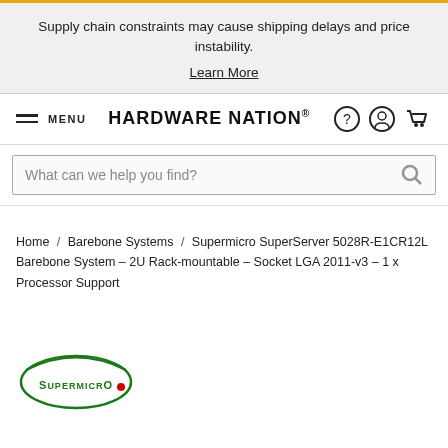Supply chain constraints may cause shipping delays and price instability.
Learn More
MENU   HARDWARE NATION®
What can we help you find?
Home / Barebone Systems / Supermicro SuperServer 5028R-E1CR12L Barebone System – 2U Rack-mountable – Socket LGA 2011-v3 – 1 x Processor Support
[Figure (logo): Supermicro logo — oval green outline with 'SUPERMICRO' text and red dot]